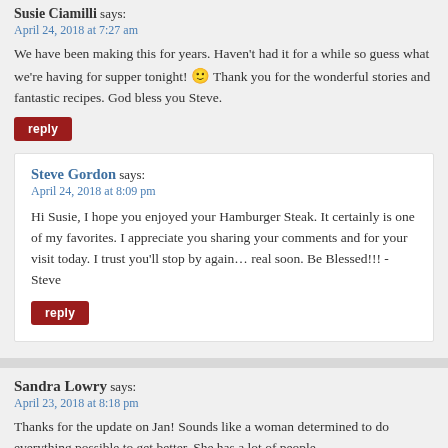Susie Ciamilli says:
April 24, 2018 at 7:27 am
We have been making this for years. Haven't had it for a while so guess what we're having for supper tonight! 🙂 Thank you for the wonderful stories and fantastic recipes. God bless you Steve.
reply
Steve Gordon says:
April 24, 2018 at 8:09 pm
Hi Susie, I hope you enjoyed your Hamburger Steak. It certainly is one of my favorites. I appreciate you sharing your comments and for your visit today. I trust you'll stop by again… real soon. Be Blessed!!! -Steve
reply
Sandra Lowry says:
April 23, 2018 at 8:18 pm
Thanks for the update on Jan! Sounds like a woman determined to do everything possible to get better. She has a lot of people